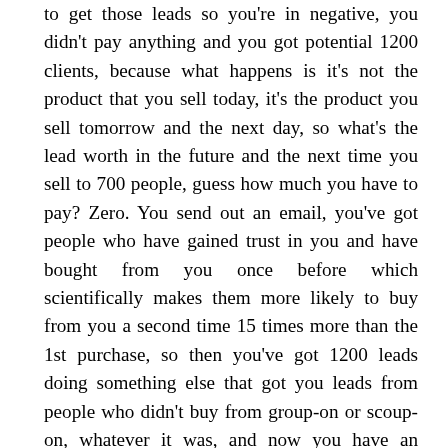to get those leads so you're in negative, you didn't pay anything and you got potential 1200 clients, because what happens is it's not the product that you sell today, it's the product you sell tomorrow and the next day, so what's the lead worth in the future and the next time you sell to 700 people, guess how much you have to pay? Zero. You send out an email, you've got people who have gained trust in you and have bought from you once before which scientifically makes them more likely to buy from you a second time 15 times more than the 1st purchase, so then you've got 1200 leads doing something else that got you leads from people who didn't buy from group-on or scoup-on, whatever it was, and now you have an opportunity to market those people for free.  No cost. So if you do your cost-analysis in your fitness center, first of all, you don't know what your average person costs you to acquire then you need to go back to your drawing board and figure that out, but once you do know that you could say, you know